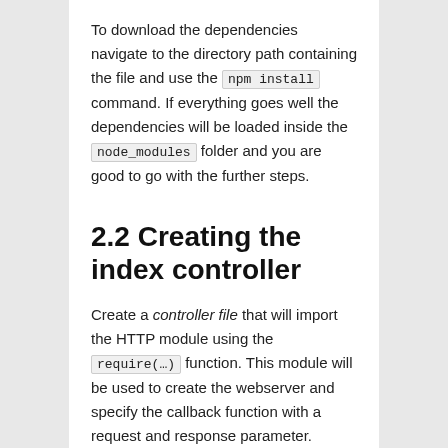To download the dependencies navigate to the directory path containing the file and use the npm install command. If everything goes well the dependencies will be loaded inside the node_modules folder and you are good to go with the further steps.
2.2 Creating the index controller
Create a controller file that will import the HTTP module using the require(…) function. This module will be used to create the webserver and specify the callback function with a request and response parameter.
index.js
01 |  // importing node.js core modu